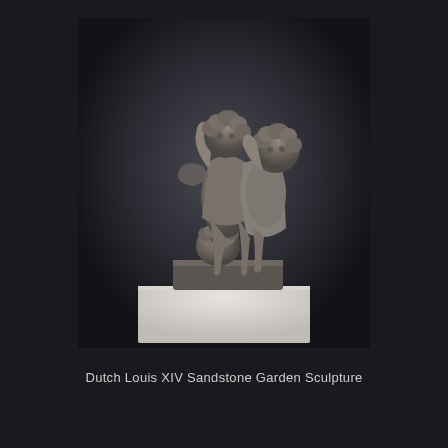[Figure (photo): A Dutch Louis XIV sandstone garden sculpture depicting two cherub/putto figures interacting playfully, with a third smaller head visible at the base. The sculpture sits on a flat pedestal displayed on a white museum plinth against a dark gray gradient background.]
Dutch Louis XIV Sandstone Garden Sculpture